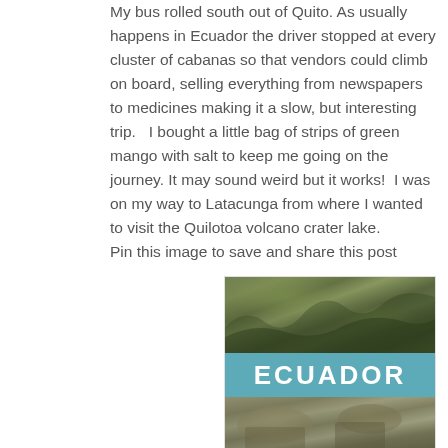My bus rolled south out of Quito. As usually happens in Ecuador the driver stopped at every cluster of cabanas so that vendors could climb on board, selling everything from newspapers to medicines making it a slow, but interesting trip.   I bought a little bag of strips of green mango with salt to keep me going on the journey. It may sound weird but it works!  I was on my way to Latacunga from where I wanted to visit the Quilotoa volcano crater lake.
Pin this image to save and share this post
[Figure (photo): A Pinterest-style travel pin for Ecuador with two landscape photos (green mountain valley at top, rocky terrain at bottom) and a teal band in the middle with the word ECUADOR in large white bold letters.]